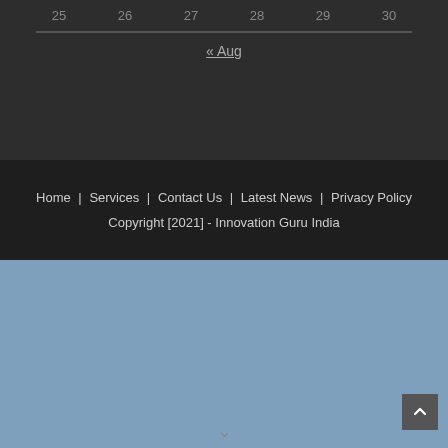25  26  27  28  29  30
« Aug
Home | Services | Contact Us | Latest News | Privacy Policy
Copyright [2021] - Innovation Guru India